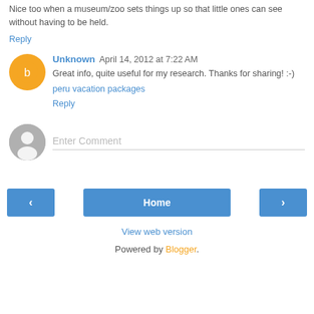Nice too when a museum/zoo sets things up so that little ones can see without having to be held.
Reply
Unknown  April 14, 2012 at 7:22 AM
Great info, quite useful for my research. Thanks for sharing! :-)
peru vacation packages
Reply
Enter Comment
Home
View web version
Powered by Blogger.